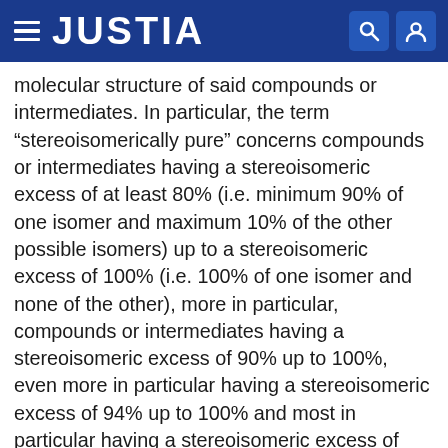JUSTIA
molecular structure of said compounds or intermediates. In particular, the term “stereoisomerically pure” concerns compounds or intermediates having a stereoisomeric excess of at least 80% (i.e. minimum 90% of one isomer and maximum 10% of the other possible isomers) up to a stereoisomeric excess of 100% (i.e. 100% of one isomer and none of the other), more in particular, compounds or intermediates having a stereoisomeric excess of 90% up to 100%, even more in particular having a stereoisomeric excess of 94% up to 100% and most in particular having a stereoisomeric excess of 97% up to 100%. The terms “enantiomerically pure” and “diastereomerically pure” should be understood in a similar way, but then having regard to the enantiomeric excess, and the diastereomeric excess, respectively, of the mixture in question.